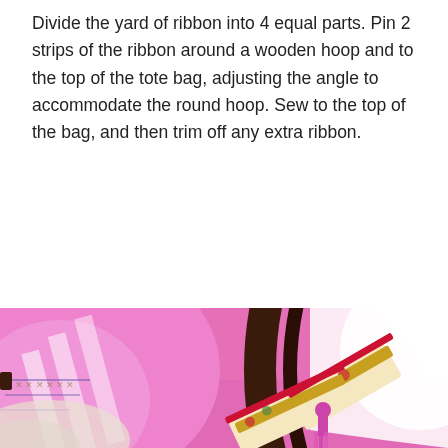Divide the yard of ribbon into 4 equal parts.  Pin 2 strips of the ribbon around a wooden hoop and to the top of the tote bag, adjusting the angle to accommodate the round hoop. Sew to the top of the bag, and then trim off any extra ribbon.
[Figure (photo): Close-up photo of a decorative pink tote bag with white stripe fabric, a dark wooden circular hoop handle, and ornate floral brocade ribbon trim wrapped around the hoop attachment point, with a pink tassel detail visible.]